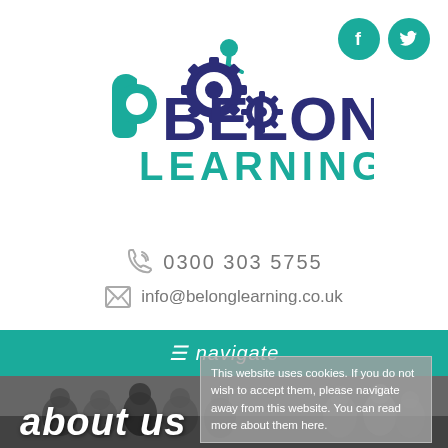[Figure (logo): Belong Learning logo with teal heart/gear/person icon and dark navy text 'BELONG LEARNING']
[Figure (other): Facebook and Twitter social media icons in teal circles]
0300 303 5755
info@belonglearning.co.uk
≡ navigate
[Figure (photo): Group of people smiling and talking, used as background for 'about us' section]
about us
This website uses cookies. If you do not wish to accept them, please navigate away from this website. You can read more about them here.